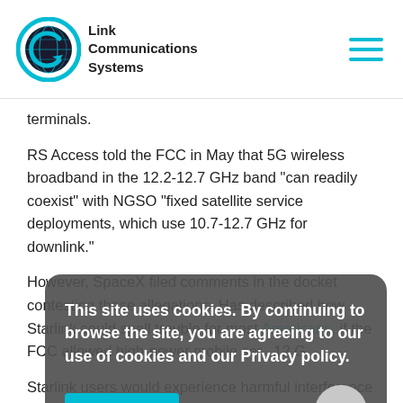Link Communications Systems
terminals.
RS Access told the FCC in May that 5G wireless broadband in the 12.2-12.7 GHz band "can readily coexist" with NGSO "fixed satellite service deployments, which use 10.7-12.7 GHz for downlink."
However, SpaceX filed comments in the docket contesting those allegations. Has described how Starlink could spell trouble for most Americans, if the FCC allowed high-power mobile service in the 12 GHz band.
This site uses cookies. By continuing to browse the site, you are agreeing to our use of cookies and our Privacy policy.
Starlink users would experience harmful interference 77% of the time, according to SpaceX's study, and total outage of service...